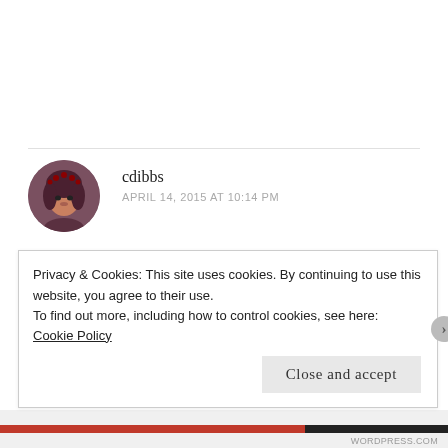[Figure (photo): Circular avatar photo of commenter cdibbs, a woman wearing a decorative headpiece]
cdibbs
APRIL 14, 2015 AT 10:14 PM
You are truly inspiring, can't wait for part two!!
Reply
Privacy & Cookies: This site uses cookies. By continuing to use this website, you agree to their use.
To find out more, including how to control cookies, see here: Cookie Policy
Close and accept